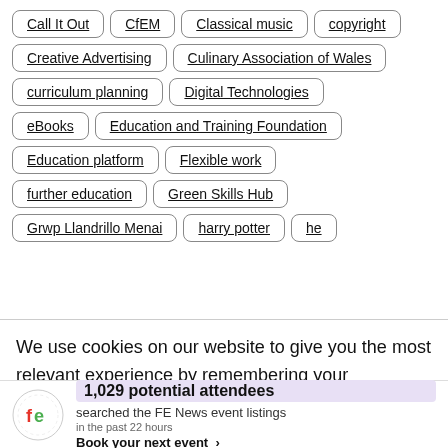Call It Out
CfEM
Classical music
copyright
Creative Advertising
Culinary Association of Wales
curriculum planning
Digital Technologies
eBooks
Education and Training Foundation
Education platform
Flexible work
further education
Green Skills Hub
Grwp Llandrillo Menai
harry potter
he
We use cookies on our website to give you the most relevant experience by remembering your preferences and repeat visits. By clicking “Accept”, you consent to
1,029 potential attendees searched the FE News event listings in the past 22 hours Book your next event ›